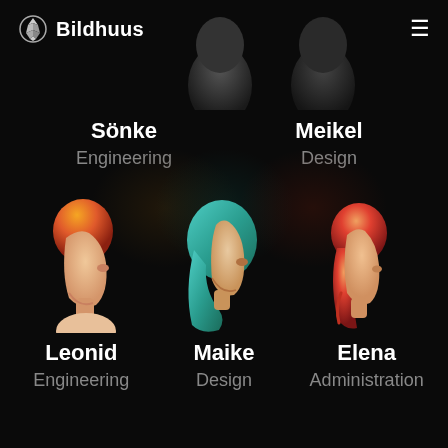Bildhuus
[Figure (illustration): Team member profile illustrations: top row shows two partially visible avatar figures (Sönke - orange/warm tones, Meikel - dark tones); bottom row shows three avatars: Leonid (orange gradient hair, beige face, side profile), Maike (teal/green hair, side profile), Elena (red/orange gradient hair, side profile). All avatars are stylized vector illustrations on dark background.]
Sönke
Engineering
Meikel
Design
Leonid
Engineering
Maike
Design
Elena
Administration